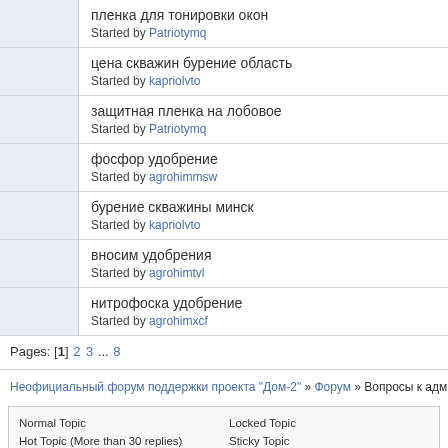| Icon | Topic |
| --- | --- |
|  | пленка для тонировки окон
Started by Patriotymq |
|  | цена скважин бурение область
Started by kapriolvto |
|  | защитная пленка на лобовое
Started by Patriotymq |
|  | фосфор удобрение
Started by agrohimmsw |
|  | бурение скважины минск
Started by kapriolvto |
|  | вносим удобрения
Started by agrohimtvl |
|  | нитрофоска удобрение
Started by agrohimxcf |
Pages: [1] 2 3 ... 8
Неофициальный форум поддержки проекта "Дом-2" » Форум » Вопросы к админист
Normal Topic | Locked Topic
Hot Topic (More than 30 replies) | Sticky Topic
Very Hot Topic (More than 50 replies) | Poll